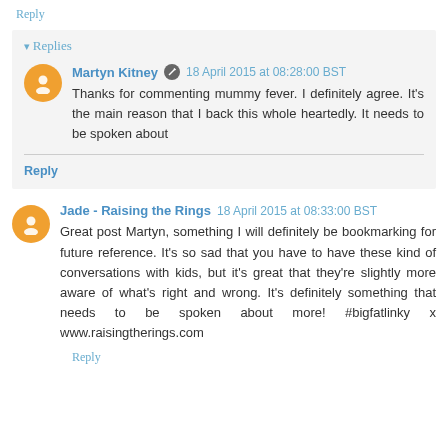Reply
Replies
Martyn Kitney  18 April 2015 at 08:28:00 BST
Thanks for commenting mummy fever. I definitely agree. It's the main reason that I back this whole heartedly. It needs to be spoken about
Reply
Jade - Raising the Rings  18 April 2015 at 08:33:00 BST
Great post Martyn, something I will definitely be bookmarking for future reference. It's so sad that you have to have these kind of conversations with kids, but it's great that they're slightly more aware of what's right and wrong. It's definitely something that needs to be spoken about more! #bigfatlinky x www.raisingtherings.com
Reply